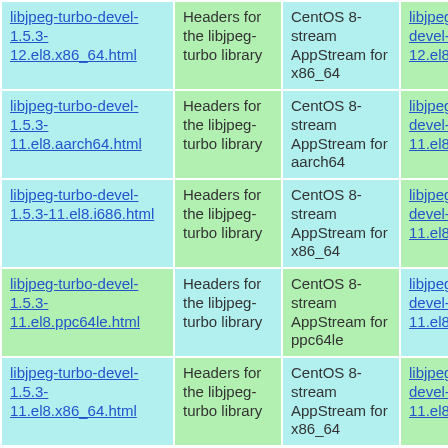| libjpeg-turbo-devel-1.5.3-12.el8.x86_64.html | Headers for the libjpeg-turbo library | CentOS 8-stream AppStream for x86_64 | libjpeg-turbo-devel-1.5.3-12.el8.x86_64.rpm |
| libjpeg-turbo-devel-1.5.3-11.el8.aarch64.html | Headers for the libjpeg-turbo library | CentOS 8-stream AppStream for aarch64 | libjpeg-turbo-devel-1.5.3-11.el8.aarch64.rpm |
| libjpeg-turbo-devel-1.5.3-11.el8.i686.html | Headers for the libjpeg-turbo library | CentOS 8-stream AppStream for x86_64 | libjpeg-turbo-devel-1.5.3-11.el8.i686.rpm |
| libjpeg-turbo-devel-1.5.3-11.el8.ppc64le.html | Headers for the libjpeg-turbo library | CentOS 8-stream AppStream for ppc64le | libjpeg-turbo-devel-1.5.3-11.el8.ppc64le.rpm |
| libjpeg-turbo-devel-1.5.3-11.el8.x86_64.html | Headers for the libjpeg-turbo library | CentOS 8-stream AppStream for x86_64 | libjpeg-turbo-devel-1.5.3-11.el8.x86_64.rpm |